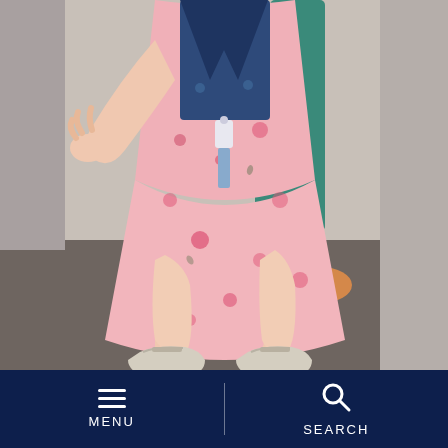[Figure (photo): Close-up photo of a young toddler girl standing on a carpet floor. She is wearing a pink floral dress with a denim vest/jacket, and white-gray velcro sneakers. Her chubby legs and feet are the focal point. In the background, slightly blurred, there appear to be other people's legs and feet visible.]
MENU
SEARCH